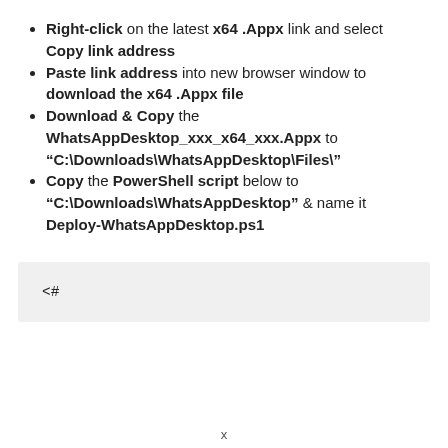Right-click on the latest x64 .Appx link and select Copy link address
Paste link address into new browser window to download the x64 .Appx file
Download & Copy the WhatsAppDesktop_xxx_x64_xxx.Appx to “C:\Downloads\WhatsAppDesktop\Files\”
Copy the PowerShell script below to “C:\Downloads\WhatsAppDesktop” & name it Deploy-WhatsAppDesktop.ps1
<#